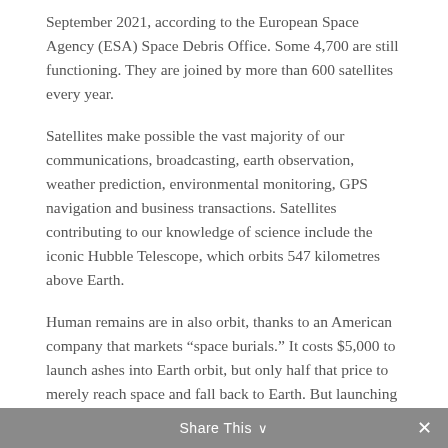September 2021, according to the European Space Agency (ESA) Space Debris Office. Some 4,700 are still functioning. They are joined by more than 600 satellites every year.
Satellites make possible the vast majority of our communications, broadcasting, earth observation, weather prediction, environmental monitoring, GPS navigation and business transactions. Satellites contributing to our knowledge of science include the iconic Hubble Telescope, which orbits 547 kilometres above Earth.
Human remains are in also orbit, thanks to an American company that markets “space burials.” It costs $5,000 to launch ashes into Earth orbit, but only half that price to merely reach space and fall back to Earth. But launching ashes into deep space nearly doubles the price tag of an Earth orbit.
Share This ∨  ×